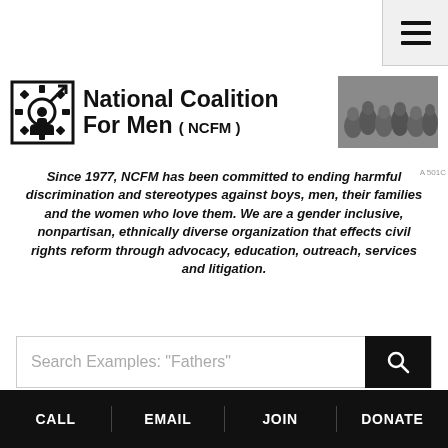[Figure (logo): National Coalition For Men (NCFM) logo with gear/male symbol icon and group photo on right. Text reads 'National Coalition For Men (NCFM)' with 'A 501C' label.]
Since 1977, NCFM has been committed to ending harmful discrimination and stereotypes against boys, men, their families and the women who love them. We are a gender inclusive, nonpartisan, ethnically diverse organization that effects civil rights reform through advocacy, education, outreach, services and litigation.
Search Examples: "Fathers"
NCFM helps the San Diego YMCA to Stop Charging
CALL  EMAIL  JOIN  DONATE